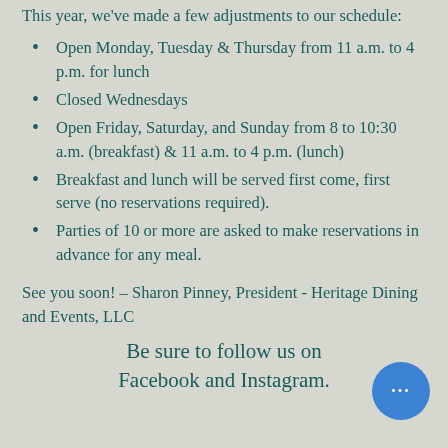This year, we’ve made a few adjustments to our schedule:
Open Monday, Tuesday & Thursday from 11 a.m. to 4 p.m. for lunch
Closed Wednesdays
Open Friday, Saturday, and Sunday from 8 to 10:30 a.m. (breakfast) & 11 a.m. to 4 p.m. (lunch)
Breakfast and lunch will be served first come, first serve (no reservations required).
Parties of 10 or more are asked to make reservations in advance for any meal.
See you soon! – Sharon Pinney, President - Heritage Dining and Events, LLC
Be sure to follow us on Facebook and Instagram.